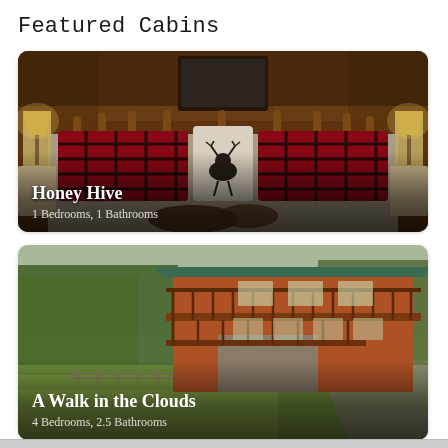Featured Cabins
[Figure (photo): Interior of a rustic log cabin bedroom with plaid red/black bedding, a white moose-print pillow, two bedside lamps with deer bases, and warm wooden walls. Text overlay: 'Honey Hive' and '1 Bedrooms, 1 Bathrooms']
[Figure (photo): Exterior of a large two-story log cabin with wrap-around decks and balconies, surrounded by lush green lawn and trees, with a driveway to the right. Text overlay: 'A Walk in the Clouds' and '4 Bedrooms, 2.5 Bathrooms']